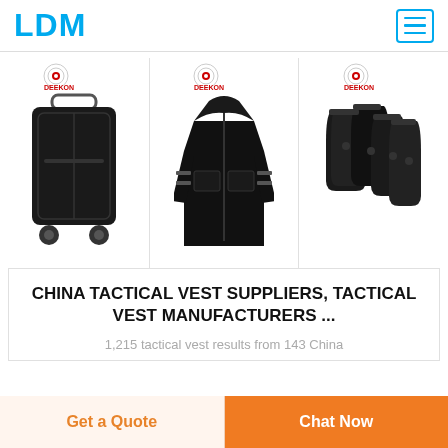LDM
[Figure (photo): Three product images from DEEKON brand: a black hard-shell luggage/suitcase, a black tactical jacket/coat, and black tactical gear/holsters]
CHINA TACTICAL VEST SUPPLIERS, TACTICAL VEST MANUFACTURERS ...
1,215 tactical vest results from 143 China
Get a Quote
Chat Now